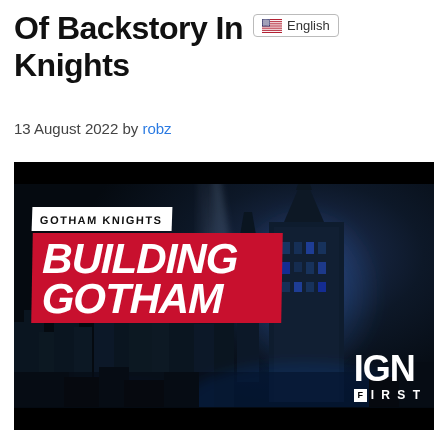Of Backstory In Knights
13 August 2022 by robz
[Figure (photo): Gotham Knights 'Building Gotham' promotional video thumbnail featuring IGN First branding. Dark atmospheric cityscape with gothic towers and blue lighting. Red banner with text 'GOTHAM KNIGHTS - BUILDING GOTHAM'. IGN FIRST logo in bottom right.]